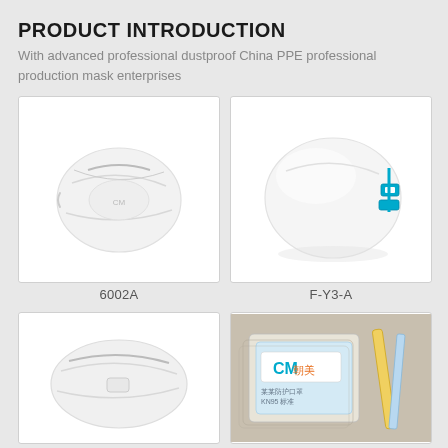PRODUCT INTRODUCTION
With advanced professional dustproof China PPE professional production mask enterprises
[Figure (photo): White KN95 flat-fold respirator mask, model 6002A, shown from the side on a white background]
6002A
[Figure (photo): White cup-style respirator mask F-Y3-A with blue elastic strap and buckle clip, shown from front-side angle on white background]
F-Y3-A
[Figure (photo): White flat-fold respirator mask with small valve, shown at an angle on white background]
[Figure (photo): CM brand (朝美) packaged respirator mask boxes stacked, with blue and white packaging showing CM logo and Chinese text, with pencils/sticks beside them]